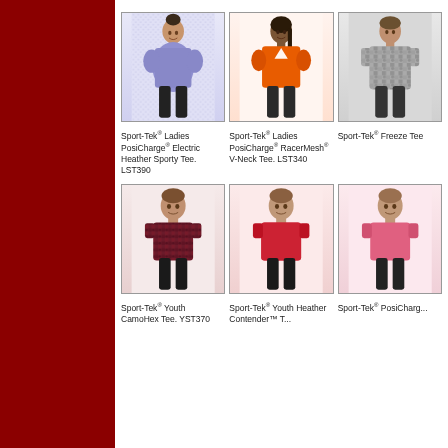[Figure (photo): Sport-Tek Ladies PosiCharge Electric Heather Sporty Tee LST390 - woman in purple heather tee]
Sport-Tek® Ladies PosiCharge® Electric Heather Sporty Tee. LST390
[Figure (photo): Sport-Tek Ladies PosiCharge RacerMesh V-Neck Tee LST340 - woman in orange v-neck tee]
Sport-Tek® Ladies PosiCharge® RacerMesh® V-Neck Tee. LST340
[Figure (photo): Sport-Tek Freeze Tee - man in camo grey tee (partially visible)]
Sport-Tek® Freeze Tee
[Figure (photo): Sport-Tek Youth CamoHex Tee YST370 - boy in maroon camo tee]
Sport-Tek® Youth CamoHex Tee. YST370
[Figure (photo): Sport-Tek Youth Heather Contender Tee - boy in red heather tee]
Sport-Tek® Youth Heather Contender™ Tee
[Figure (photo): Sport-Tek Youth PosiCharge - child in pink tee (partially visible)]
Sport-Tek® PosiCharge